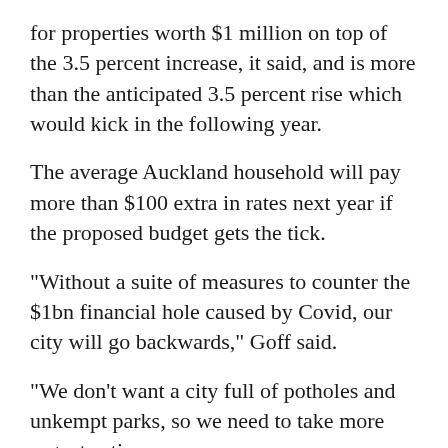for properties worth $1 million on top of the 3.5 percent increase, it said, and is more than the anticipated 3.5 percent rise which would kick in the following year.
The average Auckland household will pay more than $100 extra in rates next year if the proposed budget gets the tick.
"Without a suite of measures to counter the $1bn financial hole caused by Covid, our city will go backwards," Goff said.
"We don't want a city full of potholes and unkempt parks, so we need to take more urgent action now.
"If we stuck with 3.5 percent then there are a whole range of projects that would not have been able to have been completed."